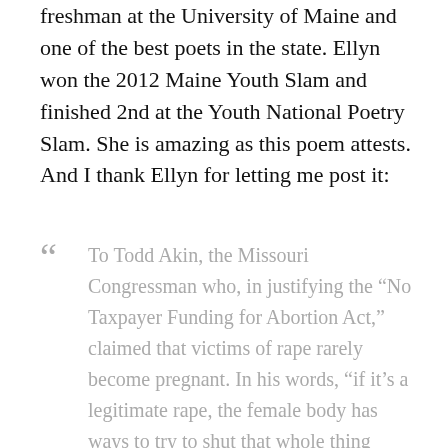freshman at the University of Maine and one of the best poets in the state. Ellyn won the 2012 Maine Youth Slam and finished 2nd at the Youth National Poetry Slam. She is amazing as this poem attests. And I thank Ellyn for letting me post it:
“ To Todd Akin, the Missouri Congressman who, in justifying the “No Taxpayer Funding for Abortion Act,” claimed that victims of rape rarely become pregnant. In his words, “if it’s a legitimate rape, the female body has ways to try to shut that whole thing down.”